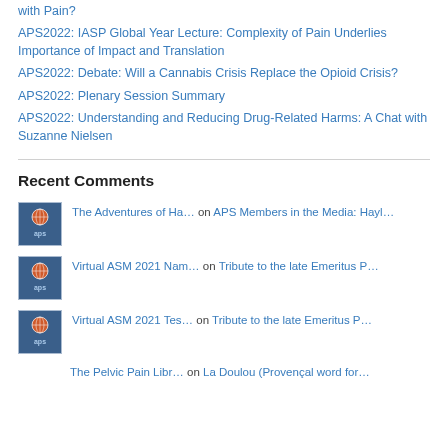with Pain?
APS2022: IASP Global Year Lecture: Complexity of Pain Underlies Importance of Impact and Translation
APS2022: Debate: Will a Cannabis Crisis Replace the Opioid Crisis?
APS2022: Plenary Session Summary
APS2022: Understanding and Reducing Drug-Related Harms: A Chat with Suzanne Nielsen
Recent Comments
The Adventures of Ha… on APS Members in the Media: Hayl…
Virtual ASM 2021 Nam… on Tribute to the late Emeritus P…
Virtual ASM 2021 Tes… on Tribute to the late Emeritus P…
The Pelvic Pain Libr… on La Doulou (Provençal word for…